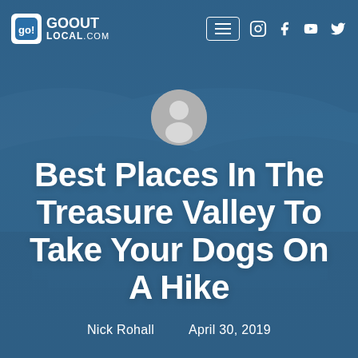[Figure (screenshot): GoOutLocal.com website header screenshot. Background shows a blue-tinted aerial/landscape photo of Treasure Valley hills and city. Top navigation bar includes the GoOutLocal.com logo on the left and social media icons (hamburger menu, Instagram, Facebook, YouTube, Twitter) on the right. A grey avatar/profile icon circle appears below the nav. Large bold white title reads 'Best Places In The Treasure Valley To Take Your Dogs On A Hike'. Byline shows 'Nick Rohall   April 30, 2019'.]
go! GOOUT LOCAL.COM
Best Places In The Treasure Valley To Take Your Dogs On A Hike
Nick Rohall    April 30, 2019